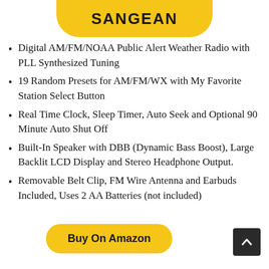[Figure (logo): Sangean brand logo on a yellow rounded banner at the top of the page]
Digital AM/FM/NOAA Public Alert Weather Radio with PLL Synthesized Tuning
19 Random Presets for AM/FM/WX with My Favorite Station Select Button
Real Time Clock, Sleep Timer, Auto Seek and Optional 90 Minute Auto Shut Off
Built-In Speaker with DBB (Dynamic Bass Boost), Large Backlit LCD Display and Stereo Headphone Output.
Removable Belt Clip, FM Wire Antenna and Earbuds Included, Uses 2 AA Batteries (not included)